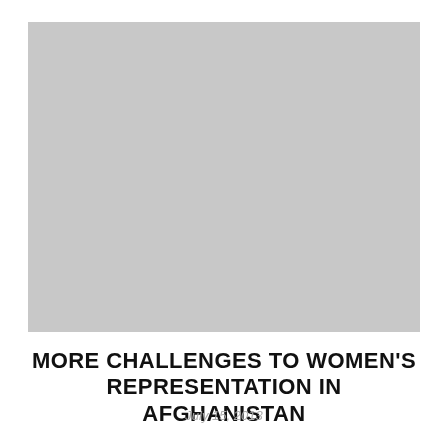[Figure (photo): A gray placeholder image representing a photograph, approximately 392x310 pixels, light gray background with no visible content.]
MORE CHALLENGES TO WOMEN'S REPRESENTATION IN AFGHANISTAN
July 15, 2013